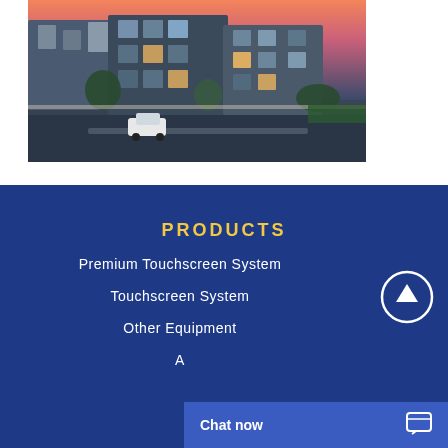[Figure (photo): Residential apartment buildings at dusk with a car on the street, trees and hedges in foreground, warm orange-pink sky.]
PRODUCTS
Premium Touchscreen System
Touchscreen System
Other Equipment
A...
Chat now